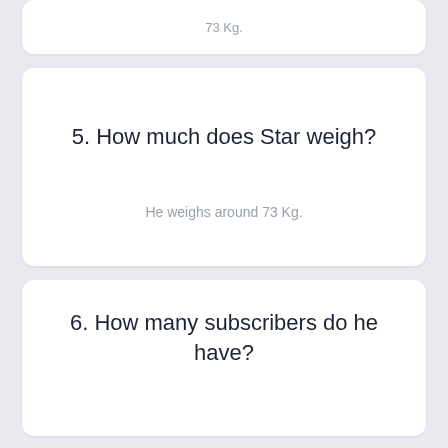73 Kg.
5. How much does Star weigh?
He weighs around 73 Kg.
6. How many subscribers do he have?